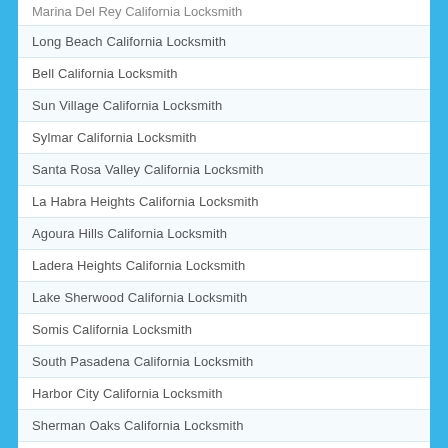Marina Del Rey California Locksmith
Long Beach California Locksmith
Bell California Locksmith
Sun Village California Locksmith
Sylmar California Locksmith
Santa Rosa Valley California Locksmith
La Habra Heights California Locksmith
Agoura Hills California Locksmith
Ladera Heights California Locksmith
Lake Sherwood California Locksmith
Somis California Locksmith
South Pasadena California Locksmith
Harbor City California Locksmith
Sherman Oaks California Locksmith
Florence California Locksmith